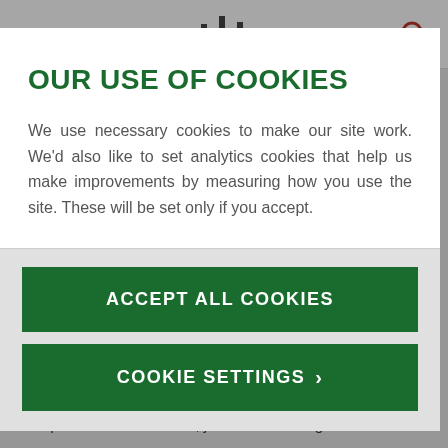Navigation bar with hamburger menu, logo/barcode icon, and search icon
OUR USE OF COOKIES
We use necessary cookies to make our site work. We'd also like to set analytics cookies that help us make improvements by measuring how you use the site. These will be set only if you accept.
ACCEPT ALL COOKIES
COOKIE SETTINGS
camp at Johnstone Castle, just outside Glasgow.